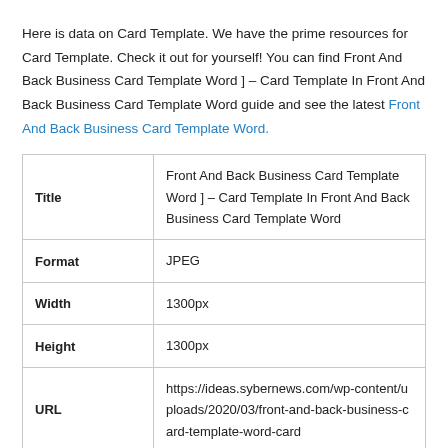Here is data on Card Template. We have the prime resources for Card Template. Check it out for yourself! You can find Front And Back Business Card Template Word ] – Card Template In Front And Back Business Card Template Word guide and see the latest Front And Back Business Card Template Word.
|  |  |
| --- | --- |
| Title | Front And Back Business Card Template Word ] – Card Template In Front And Back Business Card Template Word |
| Format | JPEG |
| Width | 1300px |
| Height | 1300px |
| URL | https://ideas.sybernews.com/wp-content/uploads/2020/03/front-and-back-business-card-template-word-card |